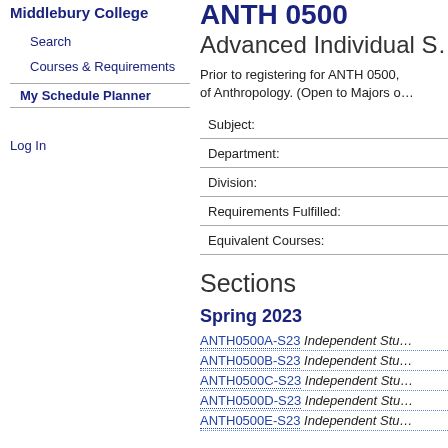Middlebury College
Search
Courses & Requirements
My Schedule Planner
Log In
ANTH 0500
Advanced Individual S…
Prior to registering for ANTH 0500, … of Anthropology. (Open to Majors o…
| Field | Value |
| --- | --- |
| Subject: |  |
| Department: |  |
| Division: |  |
| Requirements Fulfilled: |  |
| Equivalent Courses: |  |
Sections
Spring 2023
ANTH0500A-S23 Independent Stu…
ANTH0500B-S23 Independent Stu…
ANTH0500C-S23 Independent Stu…
ANTH0500D-S23 Independent Stu…
ANTH0500E-S23 Independent Stu…